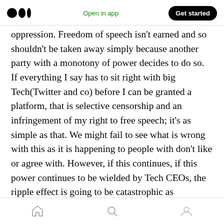Medium logo | Open in app | Get started
oppression. Freedom of speech isn't earned and so shouldn't be taken away simply because another party with a monotony of power decides to do so. If everything I say has to sit right with big Tech(Twitter and co) before I can be granted a platform, that is selective censorship and an infringement of my right to free speech; it's as simple as that. We might fail to see what is wrong with this as it is happening to people with don't like or agree with. However, if this continues, if this power continues to be wielded by Tech CEOs, the ripple effect is going to be catastrophic as
Home | Search | Profile